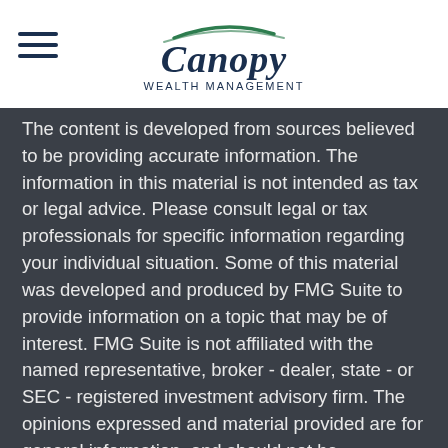[Figure (logo): Canopy Wealth Management logo with swoosh graphic above the text and tagline below]
The content is developed from sources believed to be providing accurate information. The information in this material is not intended as tax or legal advice. Please consult legal or tax professionals for specific information regarding your individual situation. Some of this material was developed and produced by FMG Suite to provide information on a topic that may be of interest. FMG Suite is not affiliated with the named representative, broker - dealer, state - or SEC - registered investment advisory firm. The opinions expressed and material provided are for general information, and should not be considered a solicitation for the purchase or sale of any security.
We take protecting your data and privacy very seriously. As of January 1, 2020 the California Consumer Privacy Act (CCPA) suggests the following link as an extra measure to safeguard your data: Do not sell my